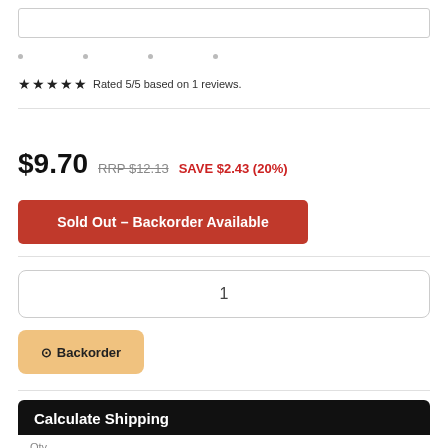[search bar]
★★★★★ Rated 5/5 based on 1 reviews.
$9.70  RRP $12.13  SAVE $2.43 (20%)
Sold Out – Backorder Available
1
⊙ Backorder
Calculate Shipping
Qty